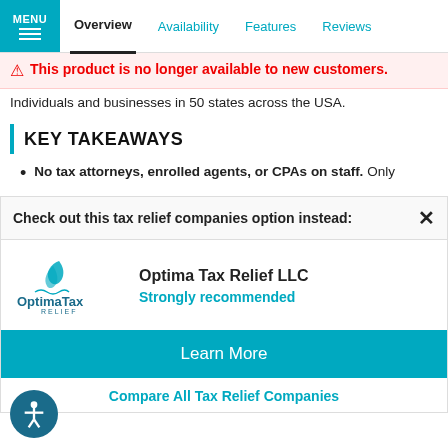MENU | Overview | Availability | Features | Reviews
This product is no longer available to new customers.
Individuals and businesses in 50 states across the USA.
KEY TAKEAWAYS
No tax attorneys, enrolled agents, or CPAs on staff. Only
Check out this tax relief companies option instead:
Optima Tax Relief LLC
Strongly recommended
Learn More
Compare All Tax Relief Companies